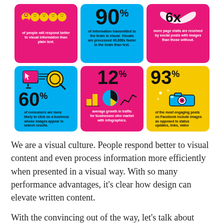[Figure (infographic): Top row of three infographic cards: pink card with face icons showing people respond better to visual information than plain text; blue card showing 90% of information transmitted to the brain is visual, processed 60,000x faster than text; pink/magenta card showing 6x more page visits received by social posts with images than those without.]
[Figure (infographic): Bottom row of three infographic cards: blue card with magnifying glass icon showing 60% of consumers are more likely to click on a business whose images appear in search results; pink card with chart icons showing 12% average growth in traffic for businesses who market with infographics; yellow card with camera icon showing 93% of the most engaging posts on Facebook include images as opposed to status updates, links, video.]
We are a visual culture. People respond better to visual content and even process information more efficiently when presented in a visual way. With so many performance advantages, it's clear how design can elevate written content.
With the convincing out of the way, let’s talk about specific ways to introduce design and